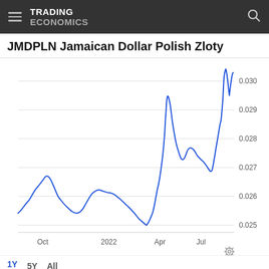TRADING ECONOMICS
JMDPLN Jamaican Dollar Polish Zloty
[Figure (line-chart): JMDPLN Jamaican Dollar Polish Zloty]
1Y  5Y  All